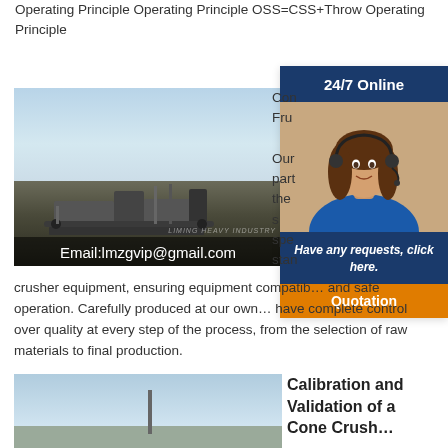Operating Principle Operating Principle OSS=CSS+Throw Operating Principle
[Figure (photo): Mining/crushing equipment at a site with dark gravel mounds; text overlay reads 'Email:lmzgvip@gmail.com' and watermark 'LIMING HEAVY INDUSTRY']
[Figure (photo): 24/7 Online sidebar widget with headset-wearing woman photo, '24/7 Online' header, 'Have any requests, click here.' message, and orange 'Quotation' button]
crusher equipment, ensuring equipment compatibility and safe operation. Carefully produced at our own… have complete control over quality at every step of the process, from the selection of raw materials to final production.
[Figure (photo): Partial photo of industrial/tower structure against sky]
Calibration and Validation of a Cone Crush…